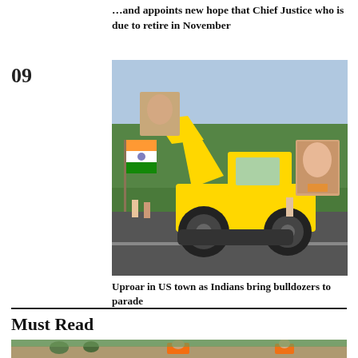...and appoints new hope that Chief Justice who is due to retire in November
09
[Figure (photo): A yellow bulldozer decorated with political posters including images of Indian politicians, driving on a road with an Indian flag visible on the left side and trees in the background.]
Uproar in US town as Indians bring bulldozers to parade
Must Read
[Figure (photo): People wading through flood waters, with rescue workers in orange vests helping civilians including children.]